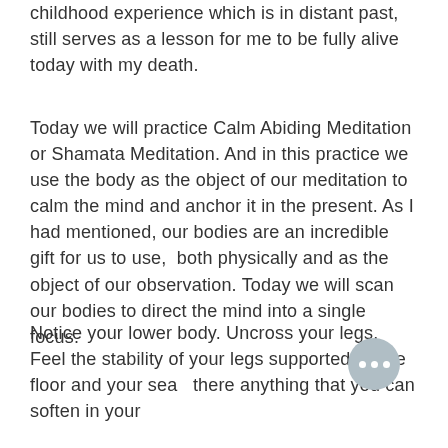childhood experience which is in distant past, still serves as a lesson for me to be fully alive today with my death.
Today we will practice Calm Abiding Meditation or Shamata Meditation. And in this practice we use the body as the object of our meditation to calm the mind and anchor it in the present. As I had mentioned, our bodies are an incredible gift for us to use, both physically and as the object of our observation. Today we will scan our bodies to direct the mind into a single focus.
Notice your lower body. Uncross your legs. Feel the stability of your legs supported by the floor and your sea... there anything that you can soften in your